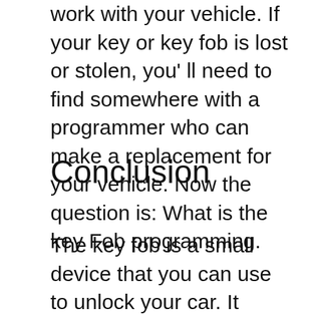work with your vehicle. If your key or key fob is lost or stolen, you'll need to find somewhere with a programmer who can make a replacement for your vehicle. Now the question is: What is the key Fob programming.
Conclusion
The key fob is a small device that you can use to unlock your car. It works with the help of Bluetooth technology and is designed to be used in cars.